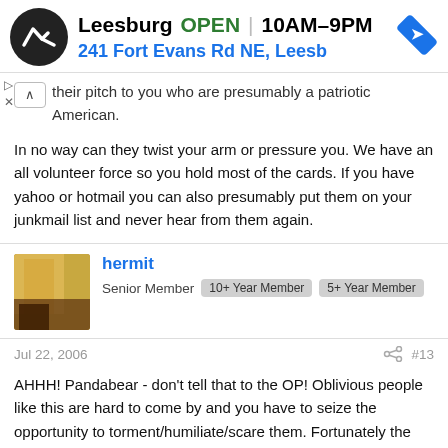[Figure (screenshot): Ad banner for Leesburg store showing logo, OPEN status, hours 10AM-9PM, address 241 Fort Evans Rd NE, Leesb, and navigation arrow icon]
their pitch to you who are presumably a patriotic American.
In no way can they twist your arm or pressure you. We have an all volunteer force so you hold most of the cards. If you have yahoo or hotmail you can also presumably put them on your junkmail list and never hear from them again.
hermit
Senior Member  10+ Year Member  5+ Year Member
Jul 22, 2006  #13
AHHH! Pandabear - don't tell that to the OP! Oblivious people like this are hard to come by and you have to seize the opportunity to torment/humiliate/scare them. Fortunately the